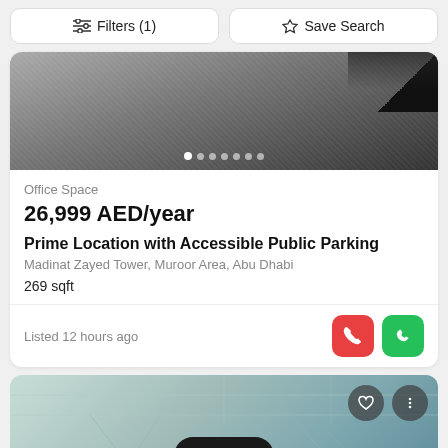Filters (1)  Save Search
[Figure (photo): Grainy grey gravel/concrete floor surface, top-right dark corner, carousel dots at bottom]
Office Space
26,999 AED/year
Prime Location with Accessible Public Parking
Madinat Zayed Tower, Muroor Area, Abu Dhabi
269 sqft
Listed 12 hours ago
[Figure (photo): Office corridor interior with glass partitions and tiled ceiling, Map button overlay, heart and more icons]